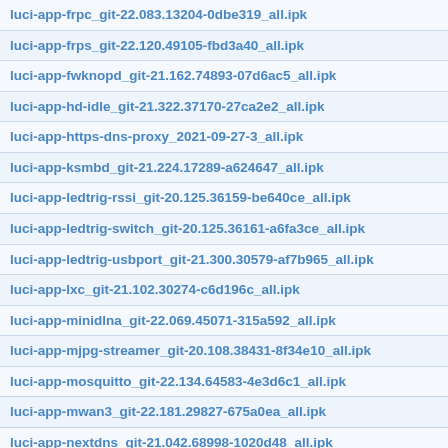luci-app-frpc_git-22.083.13204-0dbe319_all.ipk
luci-app-frps_git-22.120.49105-fbd3a40_all.ipk
luci-app-fwknopd_git-21.162.74893-07d6ac5_all.ipk
luci-app-hd-idle_git-21.322.37170-27ca2e2_all.ipk
luci-app-https-dns-proxy_2021-09-27-3_all.ipk
luci-app-ksmbd_git-21.224.17289-a624647_all.ipk
luci-app-ledtrig-rssi_git-20.125.36159-be640ce_all.ipk
luci-app-ledtrig-switch_git-20.125.36161-a6fa3ce_all.ipk
luci-app-ledtrig-usbport_git-21.300.30579-af7b965_all.ipk
luci-app-lxc_git-21.102.30274-c6d196c_all.ipk
luci-app-minidlna_git-22.069.45071-315a592_all.ipk
luci-app-mjpg-streamer_git-20.108.38431-8f34e10_all.ipk
luci-app-mosquitto_git-22.134.64583-4e3d6c1_all.ipk
luci-app-mwan3_git-22.181.29827-675a0ea_all.ipk
luci-app-nextdns_git-21.042.68998-1020d48_all.ipk
luci-app-nft-qos_git-22.193.26090-d3a6ba9_all.ipk
luci-app-nlbwmon_git-21.183.06323-fb52e86_all.ipk
luci-app-ntpc_git-20.108.38431-8f34e10_all.ipk
luci-app-nut_git-20.108.38431-8f34e10_all.ipk
luci-app-ocserv_git-20.110.55046-74da73b_all.ipk